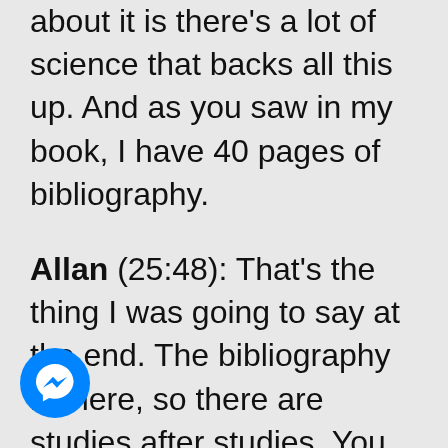about it is there's a lot of science that backs all this up. And as you saw in my book, I have 40 pages of bibliography.
Allan (25:48): That's the thing I was going to say at the end. The bibliography is there, so there are studies after studies. You can just go down that rabbit hole and
[Figure (logo): Facebook Messenger blue circle logo with white lightning bolt chat icon]